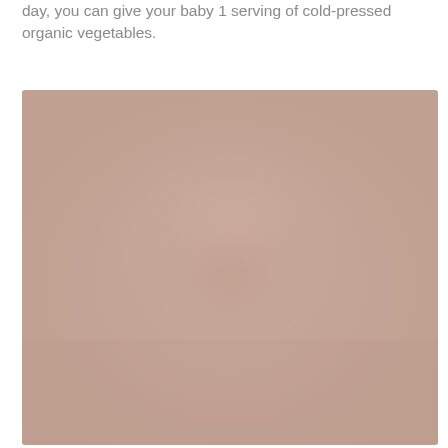day, you can give your baby 1 serving of cold-pressed organic vegetables.
[Figure (photo): A large blurry/faded image with a warm pinkish-beige (mauve/taupe) background, likely a baby food or organic vegetable product image. The image is mostly a uniform muted pink-beige tone with very subtle hints of a product or scene in the center.]